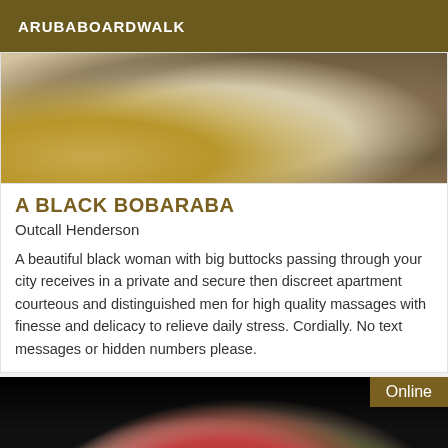ARUBABOARDWALK
[Figure (photo): Close-up photo of what appears to be a natural sponge or brush and fabric in warm tan/golden tones]
A BLACK BOBARABA
Outcall Henderson
A beautiful black woman with big buttocks passing through your city receives in a private and secure then discreet apartment courteous and distinguished men for high quality massages with finesse and delicacy to relieve daily stress. Cordially. No text messages or hidden numbers please.
[Figure (photo): Dark image showing figures in red and white clothing against a black background, with an Online badge in the top right corner]